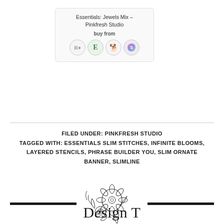[Figure (other): Product card for Essentials: Jewels Mix - Pinkfresh Studio with buy from icons (retailer logos)]
FILED UNDER: PINKFRESH STUDIO
TAGGED WITH: ESSENTIALS SLIM STITCHES, INFINITE BLOOMS, LAYERED STENCILS, PHRASE BUILDER YOU, SLIM ORNATE BANNER, SLIMLINE
[Figure (illustration): Floral divider illustration with two horizontal black bars on each side and a line-art flower bouquet in the center]